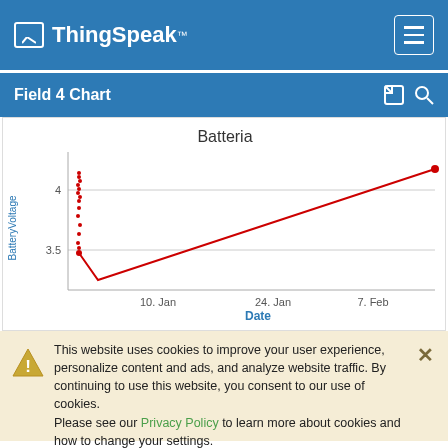ThingSpeak™
Field 4 Chart
[Figure (continuous-plot): Line chart titled 'Batteria' showing BatteryVoltage vs Date. Data starts with dense cluster of readings near Jan dates around 3.5–4.1V, drops to ~3.3V around early Jan, then rises linearly to ~4.05V by early Feb. X-axis labels: 10. Jan, 24. Jan, 7. Feb. Y-axis labels: 3.5, 4.]
This website uses cookies to improve your user experience, personalize content and ads, and analyze website traffic. By continuing to use this website, you consent to our use of cookies. Please see our Privacy Policy to learn more about cookies and how to change your settings.